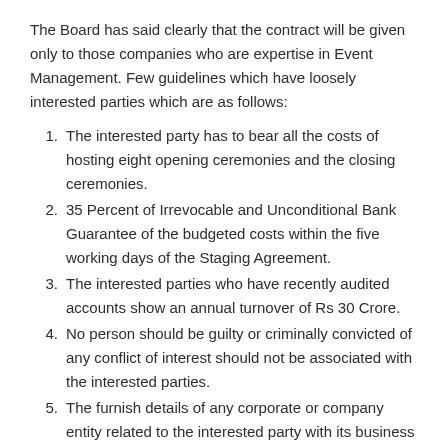The Board has said clearly that the contract will be given only to those companies who are expertise in Event Management. Few guidelines which have loosely interested parties which are as follows:
The interested party has to bear all the costs of hosting eight opening ceremonies and the closing ceremonies.
35 Percent of Irrevocable and Unconditional Bank Guarantee of the budgeted costs within the five working days of the Staging Agreement.
The interested parties who have recently audited accounts show an annual turnover of Rs 30 Crore.
No person should be guilty or criminally convicted of any conflict of interest should not be associated with the interested parties.
The furnish details of any corporate or company entity related to the interested party with its business ventures in Mauritius and the British Virgin